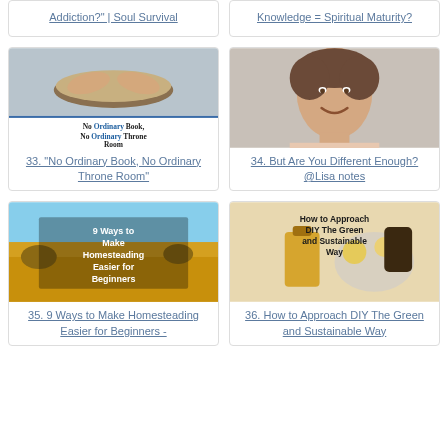Addiction?" | Soul Survival
Knowledge = Spiritual Maturity?
[Figure (illustration): Book and praying hands image with text 'No Ordinary Book, No Ordinary Throne Room']
33. "No Ordinary Book, No Ordinary Throne Room"
[Figure (photo): Woman smiling, portrait photo]
34. But Are You Different Enough? @Lisa notes
[Figure (illustration): Homesteading landscape image with text '9 Ways to Make Homesteading Easier for Beginners']
35. 9 Ways to Make Homesteading Easier for Beginners -
[Figure (illustration): DIY green products image with text 'How to Approach DIY The Green and Sustainable Way']
36. How to Approach DIY The Green and Sustainable Way